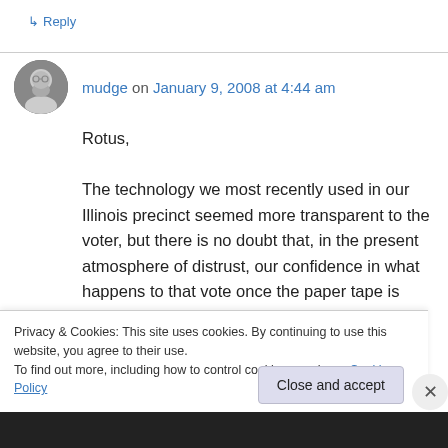↳ Reply
mudge on January 9, 2008 at 4:44 am
Rotus,
The technology we most recently used in our Illinois precinct seemed more transparent to the voter, but there is no doubt that, in the present atmosphere of distrust, our confidence in what happens to that vote once the paper tape is generated at voting time is still dependent more
Privacy & Cookies: This site uses cookies. By continuing to use this website, you agree to their use.
To find out more, including how to control cookies, see here: Cookie Policy
Close and accept